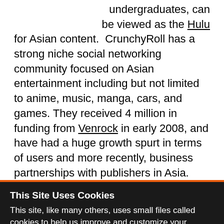undergraduates, can be viewed as the Hulu for Asian content. CrunchyRoll has a strong niche social networking community focused on Asian entertainment including but not limited to anime, music, manga, cars, and games. They received 4 million in funding from Venrock in early 2008, and have had a huge growth spurt in terms of users and more recently, business partnerships with publishers in Asia.
This Site Uses Cookies
This site, like many others, uses small files called cookies to help us improve and customize your experience. Learn more about how we use cookies in our cookie policy.